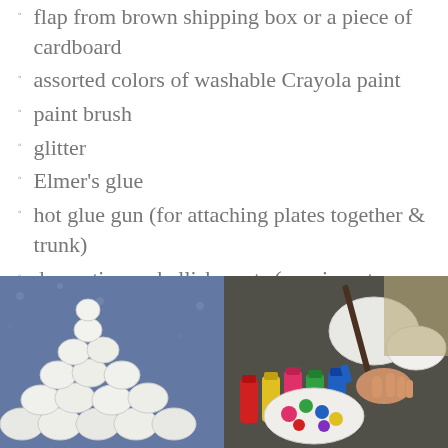flap from brown shipping box or a piece of cardboard
assorted colors of washable Crayola paint
paint brush
glitter
Elmer's glue
hot glue gun (for attaching plates together & trunk)
decorative embellishments (sequins, stones, jewels,etc.)
[Figure (photo): Paper plates arranged in a snowman/Christmas tree shape on blue patterned fabric]
[Figure (photo): Child painting paper plates with colorful Crayola paint bottles on a table]